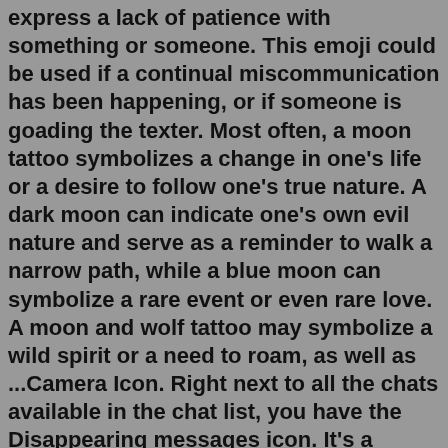express a lack of patience with something or someone. This emoji could be used if a continual miscommunication has been happening, or if someone is goading the texter. Most often, a moon tattoo symbolizes a change in one's life or a desire to follow one's true nature. A dark moon can indicate one's own evil nature and serve as a reminder to walk a narrow path, while a blue moon can symbolize a rare event or even rare love. A moon and wolf tattoo may symbolize a wild spirit or a need to roam, as well as ...Camera Icon. Right next to all the chats available in the chat list, you have the Disappearing messages icon. It's a feature available in Instagram Direct messages, which as the name suggests, lets you send disappearing images and videos. Tapping on it will open the camera. Capture a picture or choose one from your gallery.Strangely enough black, which is considered to be an inauspicious colors in most cultures, is the color of 'living', worn on the face during war preparations. White predictably is the color of peace. The color green when worn under the